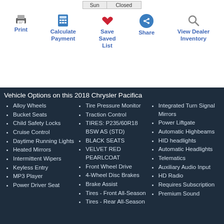Sun | Closed
Print
Calculate Payment
Save Saved List
Share
View Dealer Inventory
Vehicle Options on this 2018 Chrysler Pacifica
Alloy Wheels
Bucket Seats
Child Safety Locks
Cruise Control
Daytime Running Lights
Heated Mirrors
Intermittent Wipers
Keyless Entry
MP3 Player
Power Driver Seat
Tire Pressure Monitor
Traction Control
TIRES: P235/60R18 BSW AS (STD)
BLACK SEATS
VELVET RED PEARLCOAT
Front Wheel Drive
4-Wheel Disc Brakes
Brake Assist
Tires - Front All-Season
Tires - Rear All-Season
Integrated Turn Signal Mirrors
Power Liftgate
Automatic Highbeams
HID headlights
Automatic Headlights
Telematics
Auxiliary Audio Input
HD Radio
Requires Subscription
Premium Sound